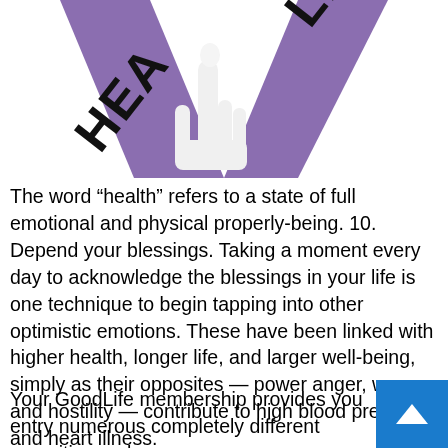[Figure (logo): Partial logo showing purple angular shapes with the letters HEA (rotated) on the left and LIFE (rotated) on the right, with a white hand/figure silhouette in the center, on a white background.]
The word “health” refers to a state of full emotional and physical properly-being. 10. Depend your blessings. Taking a moment every day to acknowledge the blessings in your life is one technique to begin tapping into other optimistic emotions. These have been linked with higher health, longer life, and larger well-being, simply as their opposites — power anger, worry, and hostility — contribute to high blood pressure and heart illness.
Your GoodLife membership provides you entry numerous completely different amenities and